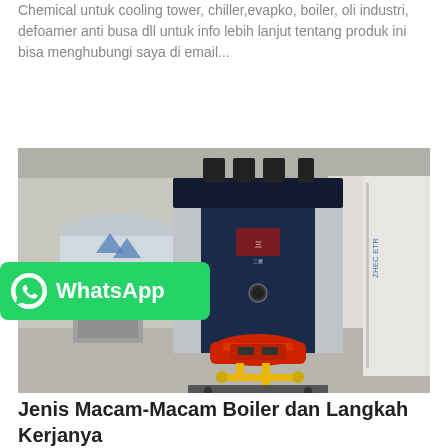Chemical untuk cooling tower, chiller,evapko, boiler, oli industri, defoamer anti busa dll untuk info lebih lanjut tentang produk ini bisa menghubungi saya di email...
Get Price
[Figure (photo): Industrial boiler unit (dark blue/navy cabinet with red burner at the bottom) in a warehouse setting, with storage barrels visible in the background]
WhatsApp
Jenis Macam-Macam Boiler dan Langkah Kerjanya